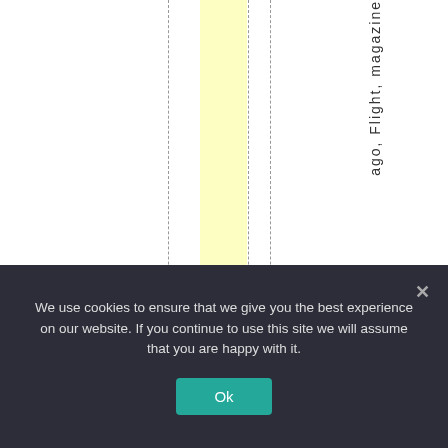[Figure (other): Document page with vertical dashed lines, a yellow highlighted column, and rotated vertical text reading 'ago, Flight, magazine' on the right side]
We use cookies to ensure that we give you the best experience on our website. If you continue to use this site we will assume that you are happy with it.
Ok